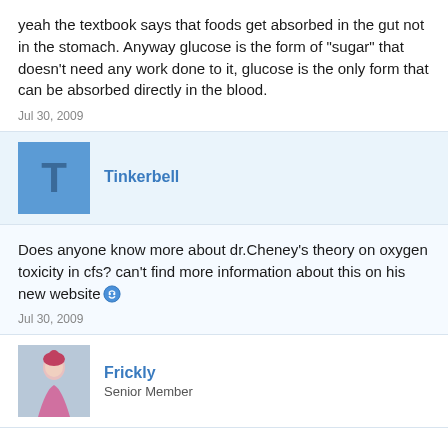yeah the textbook says that foods get absorbed in the gut not in the stomach. Anyway glucose is the form of "sugar" that doesn't need any work done to it, glucose is the only form that can be absorbed directly in the blood.
Jul 30, 2009
Tinkerbell
Does anyone know more about dr.Cheney's theory on oxygen toxicity in cfs? can't find more information about this on his new website
Jul 30, 2009
Frickly
Senior Member